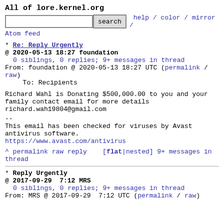All of lore.kernel.org
search  help / color / mirror / Atom feed
* Re: Reply Urgently
@ 2020-05-13 18:27 foundation
  0 siblings, 0 replies; 9+ messages in thread
From: foundation @ 2020-05-13 18:27 UTC (permalink / raw)
  To: Recipients
Richard Wahl is Donating $500,000.00 to you and your family contact email for more details richard.wah19804@gmail.com
--
This email has been checked for viruses by Avast antivirus software.
https://www.avast.com/antivirus
^ permalink raw reply   [flat|nested] 9+ messages in thread
* Reply Urgently
@ 2017-09-29  7:12 MRS
  0 siblings, 0 replies; 9+ messages in thread
From: MRS @ 2017-09-29  7:12 UTC (permalink / raw)